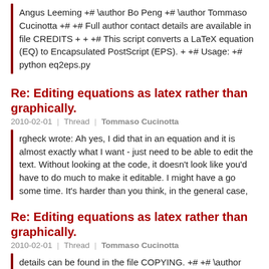Angus Leeming +# \author Bo Peng +# \author Tommaso Cucinotta +# +# Full author contact details are available in file CREDITS + + +# This script converts a LaTeX equation (EQ) to Encapsulated PostScript (EPS). + +# Usage: +# python eq2eps.py
Re: Editing equations as latex rather than graphically.
2010-02-01 | Thread | Tommaso Cucinotta
rgheck wrote: Ah yes, I did that in an equation and it is almost exactly what I want - just need to be able to edit the text. Without looking at the code, it doesn't look like you'd have to do much to make it editable. I might have a go some time. It's harder than you think, in the general case,
Re: Editing equations as latex rather than graphically.
2010-02-01 | Thread | Tommaso Cucinotta
details can be found in the file COPYING. +# +# \author Angus Leeming +# \author Bo Peng +# \author Tommaso Cucinotta +# +# Full author contact details are available in file CREDITS + + +# This script converts a LaTeX equation (EQ) to Encapsulated PostScript (EPS). + +# Usage: +#